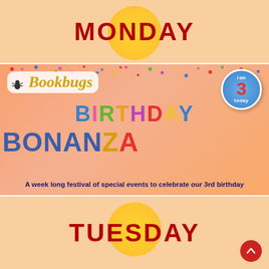MONDAY
[Figure (illustration): Bookbugs Birthday Bonanza promotional banner with colorful confetti background, Bookbugs logo, '3 today' birthday badge, colorful BIRTHDAY text in candle-style letters, BONANZA in large blue/gold letters, and subtitle text.]
A week long festival of special events to celebrate our 3rd birthday
TUESDAY